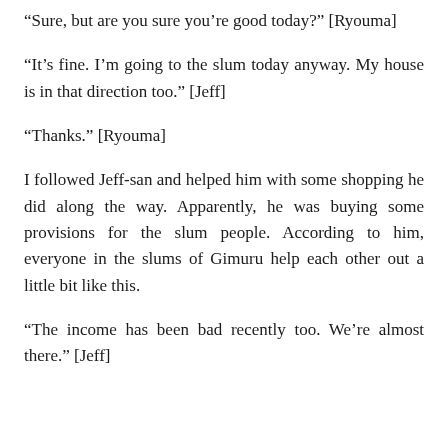“Sure, but are you sure you’re good today?” [Ryouma]
“It’s fine. I’m going to the slum today anyway. My house is in that direction too.” [Jeff]
“Thanks.” [Ryouma]
I followed Jeff-san and helped him with some shopping he did along the way. Apparently, he was buying some provisions for the slum people. According to him, everyone in the slums of Gimuru help each other out a little bit like this.
“The income has been bad recently too. We’re almost there.” [Jeff]